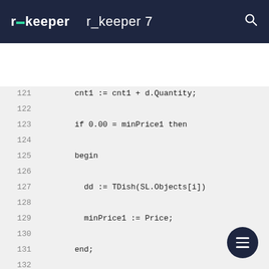r_keeper   r_keeper 7
[Figure (screenshot): Code editor view showing lines 121-135 of Pascal/Delphi code with line numbers. Code includes: cnt1 := cnt1 + d.Quantity; if 0.00 = minPrice1 then begin dd := TDish(SL.Objects[i]) minPrice1 := Price; end; // else if (Price < minPrice1) then]